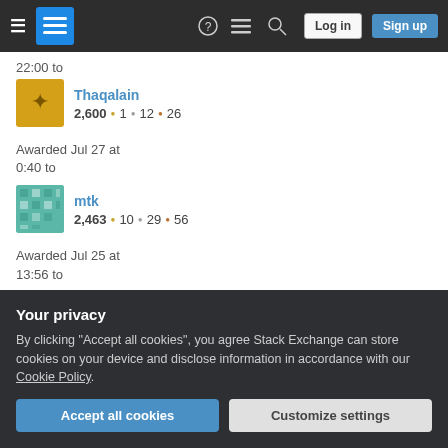Stack Exchange navigation bar with Log in and Sign up buttons
22:00 to
Thaqalain
2,600 • 1 • 12 • 26
Awarded Jul 27 at 0:40 to
mtk
2,463 • 10 • 29 • 56
Awarded Jul 25 at 13:56 to
Muz
3,292 • 4 • 24 • 42
Your privacy
By clicking "Accept all cookies", you agree Stack Exchange can store cookies on your device and disclose information in accordance with our Cookie Policy.
Accept all cookies  Customize settings
Awarded Jul 21 at